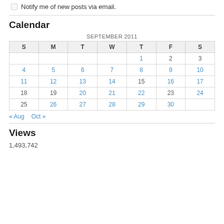Notify me of new posts via email.
Calendar
| S | M | T | W | T | F | S |
| --- | --- | --- | --- | --- | --- | --- |
|  |  |  |  | 1 | 2 | 3 |
| 4 | 5 | 6 | 7 | 8 | 9 | 10 |
| 11 | 12 | 13 | 14 | 15 | 16 | 17 |
| 18 | 19 | 20 | 21 | 22 | 23 | 24 |
| 25 | 26 | 27 | 28 | 29 | 30 |  |
« Aug   Oct »
Views
1,493,742